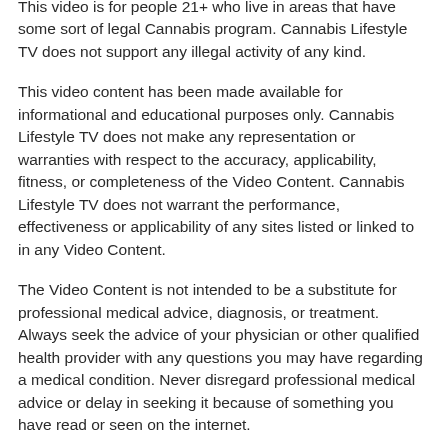This video is for people 21+ who live in areas that have some sort of legal Cannabis program. Cannabis Lifestyle TV does not support any illegal activity of any kind.
This video content has been made available for informational and educational purposes only. Cannabis Lifestyle TV does not make any representation or warranties with respect to the accuracy, applicability, fitness, or completeness of the Video Content. Cannabis Lifestyle TV does not warrant the performance, effectiveness or applicability of any sites listed or linked to in any Video Content.
The Video Content is not intended to be a substitute for professional medical advice, diagnosis, or treatment. Always seek the advice of your physician or other qualified health provider with any questions you may have regarding a medical condition. Never disregard professional medical advice or delay in seeking it because of something you have read or seen on the internet.
The video and description may contain affiliate links, which means that if you click on one of our links and purchase one of the products from a company, we receive a small commission. This helps support our